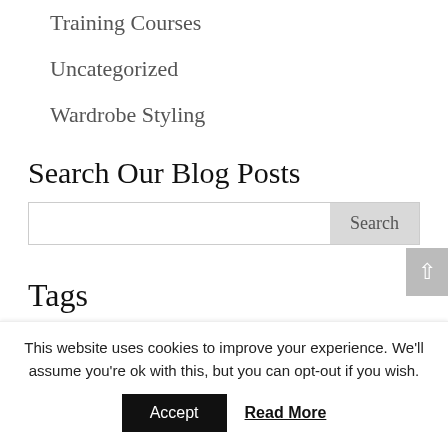Training Courses
Uncategorized
Wardrobe Styling
Search Our Blog Posts
Tags
become a personal stylist
body shapes
bodyshapes
bridal
bride
capsule wardrobe
colour analysis
This website uses cookies to improve your experience. We'll assume you're ok with this, but you can opt-out if you wish.
Accept
Read More